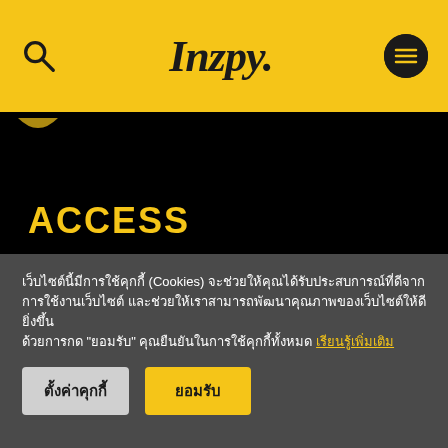Inzpy. [logo with search and menu icons]
ACCESS
Fashion
Beauty
Entertain
เว็บไซต์นี้มีการใช้คุกกี้ (Cookies) จะช่วยให้คุณได้รับประสบการณ์ที่ดีจากการใช้งานเว็บไซต์ และช่วยให้เราสามารถพัฒนาคุณภาพของเว็บไซต์ให้ดียิ่งขึ้น
ด้วยการกด "ยอมรับ" คุณยืนยันในการใช้คุกกี้ทั้งหมด เรียนรู้เพิ่มเติม
ตั้งค่าคุกกี้
ยอมรับ